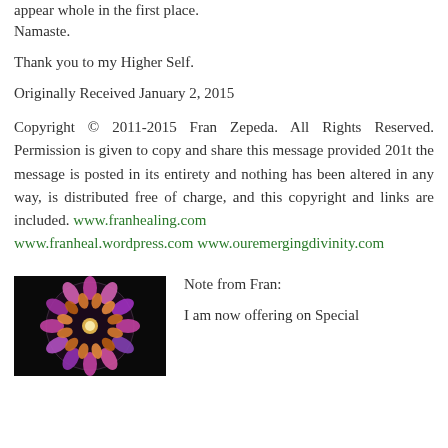appear whole in the first place.
Namaste.
Thank you to my Higher Self.
Originally Received January 2, 2015
Copyright © 2011-2015 Fran Zepeda. All Rights Reserved. Permission is given to copy and share this message provided 201t the message is posted in its entirety and nothing has been altered in any way, is distributed free of charge, and this copyright and links are included. www.franhealing.com www.franheal.wordpress.com www.ouremergingdivinity.com
[Figure (photo): A circular stained glass window with colorful floral/mandala pattern against a dark background]
Note from Fran:

I am now offering on Special